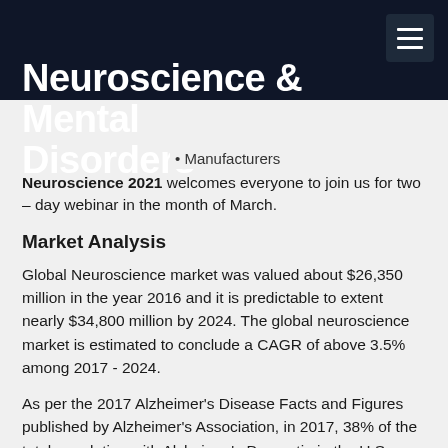Neuroscience & Mental Disorders
• Manufacturers
Neuroscience 2021 welcomes everyone to join us for two – day webinar in the month of March.
Market Analysis
Global Neuroscience market was valued about $26,350 million in the year 2016 and it is predictable to extent nearly $34,800 million by 2024. The global neuroscience market is estimated to conclude a CAGR of above 3.5% among 2017 - 2024.
As per the 2017 Alzheimer's Disease Facts and Figures published by Alzheimer's Association, in 2017, 38% of the total population with Alzheimer's Dementia in the U.S. are of age group 85+, 44% are of age group 75-84, 16% is of